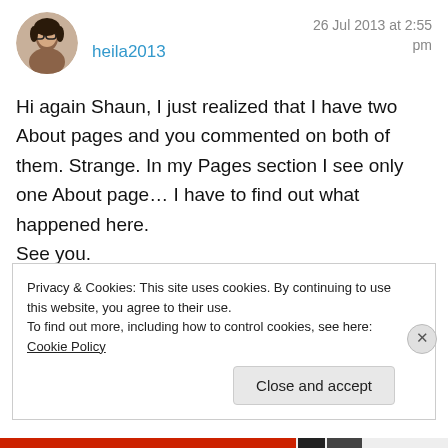[Figure (photo): Circular avatar photo of a woman with glasses and dark hair]
heila2013
26 Jul 2013 at 2:55 pm
Hi again Shaun, I just realized that I have two About pages and you commented on both of them. Strange. In my Pages section I see only one About page... I have to find out what happened here. See you.
★ Like
Privacy & Cookies: This site uses cookies. By continuing to use this website, you agree to their use.
To find out more, including how to control cookies, see here: Cookie Policy
Close and accept